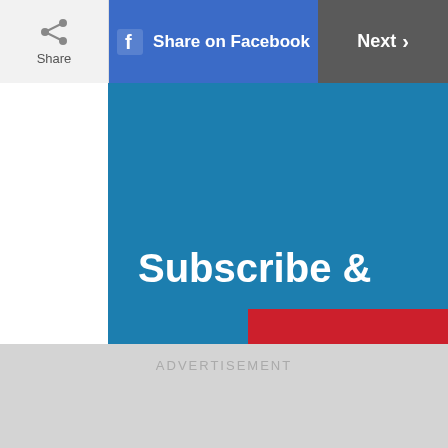Share | Share on Facebook | Next
Subscribe &
[Figure (other): Red bar element below Subscribe text on blue background]
ADVERTISEMENT